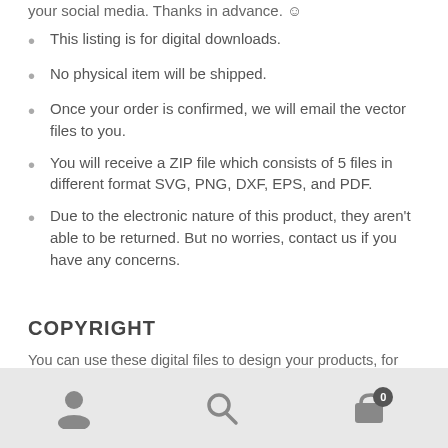your social media. Thanks in advance. ☺
This listing is for digital downloads.
No physical item will be shipped.
Once your order is confirmed, we will email the vector files to you.
You will receive a ZIP file which consists of 5 files in different format SVG, PNG, DXF, EPS, and PDF.
Due to the electronic nature of this product, they aren't able to be returned. But no worries, contact us if you have any concerns.
COPYRIGHT
You can use these digital files to design your products, for
navigation bar with user, search, and cart icons